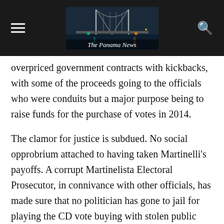The Panama News
overpriced government contracts with kickbacks, with some of the proceeds going to the officials who were conduits but a major purpose being to raise funds for the purchase of votes in 2014.
The clamor for justice is subdued. No social opprobrium attached to having taken Martinelli's payoffs. A corrupt Martinelista Electoral Prosecutor, in connivance with other officials, has made sure that no politician has gone to jail for playing the CD vote buying with stolen public funds game.
And Yanibel Ábrego? She has became much richer during her eight years or so in the National Assembly. Her big real estate coup was the purchase of a large piece of public beachfront property at pennies on the dollar. That land is still